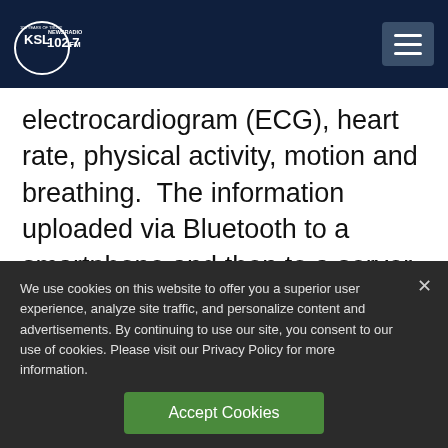KSL NewsRadio 102.7FM
electrocardiogram (ECG), heart rate, physical activity, motion and breathing.  The information uploaded via Bluetooth to a smartphone and then to a server.
Any deviation from the patient's baseline was flagged.
We use cookies on this website to offer you a superior user experience, analyze site traffic, and personalize content and advertisements. By continuing to use our site, you consent to our use of cookies. Please visit our Privacy Policy for more information.